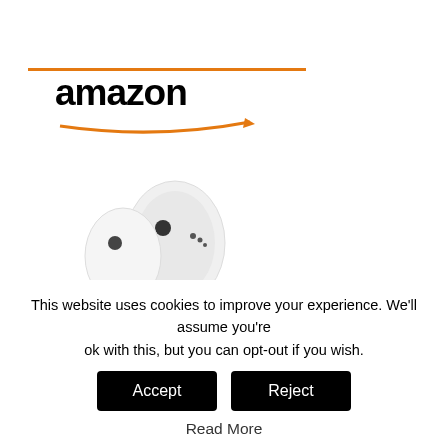[Figure (screenshot): Amazon product advertisement showing Apple AirPods (2nd generation) for $99.99 with Prime badge and Shop now button, followed by a second Amazon logo and partial product image below]
This website uses cookies to improve your experience. We'll assume you're ok with this, but you can opt-out if you wish.
Accept
Reject
Read More